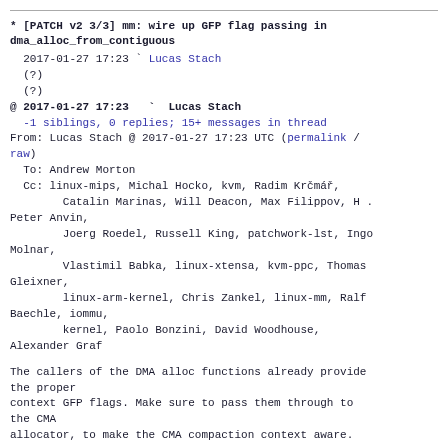* [PATCH v2 3/3] mm: wire up GFP flag passing in dma_alloc_from_contiguous
2017-01-27 17:23 ` Lucas Stach
(?)
(?)
@ 2017-01-27 17:23   ` Lucas Stach
-1 siblings, 0 replies; 15+ messages in thread
From: Lucas Stach @ 2017-01-27 17:23 UTC (permalink / raw)
To: Andrew Morton
Cc: linux-mips, Michal Hocko, kvm, Radim Krčmář,
        Catalin Marinas, Will Deacon, Max Filippov, H . Peter Anvin,
        Joerg Roedel, Russell King, patchwork-lst, Ingo Molnar,
        Vlastimil Babka, linux-xtensa, kvm-ppc, Thomas Gleixner,
        linux-arm-kernel, Chris Zankel, linux-mm, Ralf Baechle, iommu,
        kernel, Paolo Bonzini, David Woodhouse, Alexander Graf
The callers of the DMA alloc functions already provide the proper
context GFP flags. Make sure to pass them through to the CMA
allocator, to make the CMA compaction context aware.